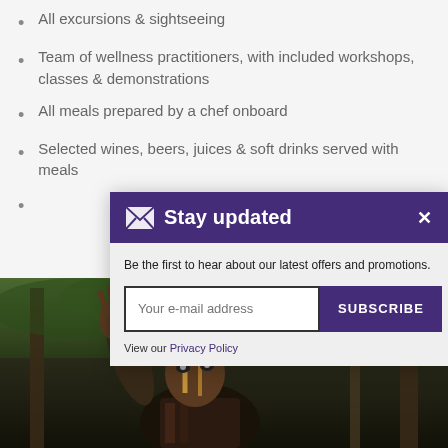All excursions & sightseeing
Team of wellness practitioners, with included workshops, classes & demonstrations
All meals prepared by a chef onboard
Selected wines, beers, juices & soft drinks served with meals
Stay updated — Be the first to hear about our latest offers and promotions.
Your e-mail address
SUBSCRIBE
View our Privacy Policy
[Figure (photo): Child with face paint looking up at camera, wooden poles in background]